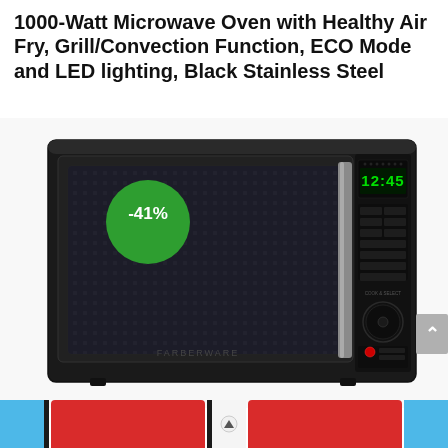1000-Watt Microwave Oven with Healthy Air Fry, Grill/Convection Function, ECO Mode and LED lighting, Black Stainless Steel
[Figure (photo): Black stainless steel Farberware microwave oven with a -41% discount badge (green circle) on the upper left. The microwave has a dark door with a grid pattern, digital display showing 12:45, control buttons on the right side panel, and a dial knob.]